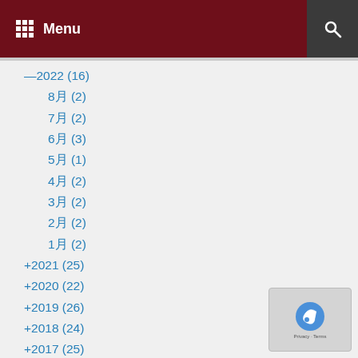Menu
—2022 (16)
8月 (2)
7月 (2)
6月 (3)
5月 (1)
4月 (2)
3月 (2)
2月 (2)
1月 (2)
+2021 (25)
+2020 (22)
+2019 (26)
+2018 (24)
+2017 (25)
+2016 (28)
+2015 (26)
+2014 (28)
+2013 (26)
+2012 (17)